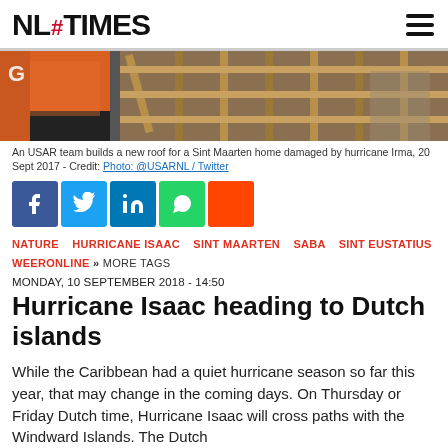NL# TIMES
[Figure (photo): An USAR team member in orange jacket builds a new roof on a home damaged by hurricane Irma, showing wooden roof frame structure.]
An USAR team builds a new roof for a Sint Maarten home damaged by hurricane Irma, 20 Sept 2017 - Credit: Photo: @USARNL / Twitter
[Figure (infographic): Social media share buttons: Facebook, Twitter, LinkedIn, WhatsApp, Reddit]
NATURE   HURRICANE ISAAC   SINT MAARTEN   SABA   SINT EUSTATIUS   WEERONLINE   » MORE TAGS
MONDAY, 10 SEPTEMBER 2018 - 14:50
Hurricane Isaac heading to Dutch islands
While the Caribbean had a quiet hurricane season so far this year, that may change in the coming days. On Thursday or Friday Dutch time, Hurricane Isaac will cross paths with the Windward Islands. The Dutch